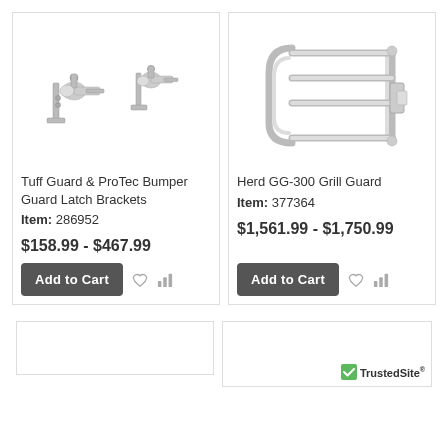[Figure (photo): Two metal latch brackets for bumper guards]
[Figure (photo): Herd GG-300 Grill Guard, stainless steel tube frame]
Tuff Guard & ProTec Bumper Guard Latch Brackets
Herd GG-300 Grill Guard
Item: 286952
Item: 377364
$158.99 - $467.99
$1,561.99 - $1,750.99
Add to Cart
Add to Cart